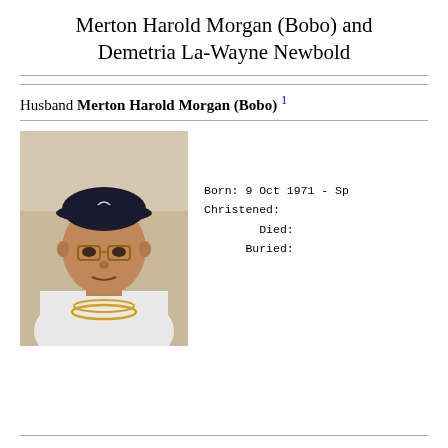Merton Harold Morgan (Bobo) and Demetria La-Wayne Newbold
Husband Merton Harold Morgan (Bobo) 1
[Figure (photo): Photograph of a man wearing glasses, a dark baseball cap, and a white shirt with gold necklaces, standing indoors.]
Born: 9 Oct 1971 - Sp
Christened:
Died:
Buried: